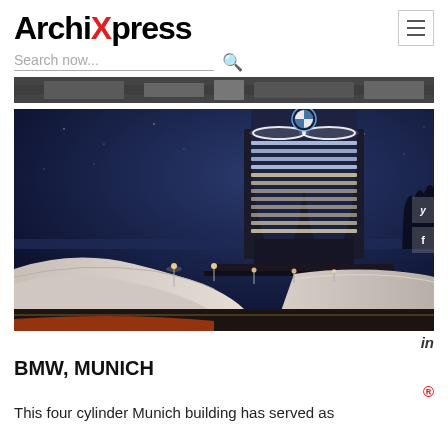ArchiXpress
Search now...
[Figure (photo): Thin panoramic banner strip showing a cityscape/bridge]
[Figure (photo): Night photograph of the BMW four-cylinder tower headquarters building in Munich, illuminated against a dark blue sky, with curved white architectural forms in the foreground]
BMW, MUNICH
This four cylinder Munich building has served as